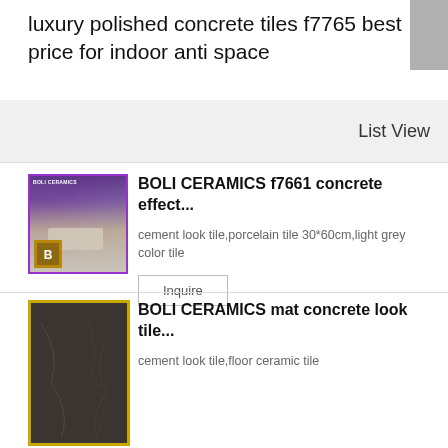luxury polished concrete tiles f7765 best price for indoor anti space
List View
[Figure (photo): Product thumbnail for BOLI CERAMICS f7661 concrete effect tile — purple-toned room interior with sofa, light grey flooring, and BOLI CERAMICS logo in corner]
BOLI CERAMICS f7661 concrete effect...
cement look tile,porcelain tile 30*60cm,light grey color tile
Inquire
[Figure (photo): Product thumbnail for BOLI CERAMICS mat concrete look tile — dark marble-effect ceramic tile with gold border frame]
BOLI CERAMICS mat concrete look tile...
cement look tile,floor ceramic tile